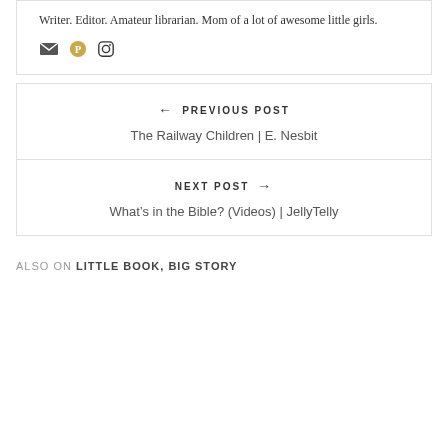Writer. Editor. Amateur librarian. Mom of a lot of awesome little girls.
[Figure (illustration): Three social media icons: envelope (email), Pinterest (gold circle with P), and Instagram (camera outline)]
← PREVIOUS POST
The Railway Children | E. Nesbit
NEXT POST →
What's in the Bible? (Videos) | JellyTelly
ALSO ON LITTLE BOOK, BIG STORY